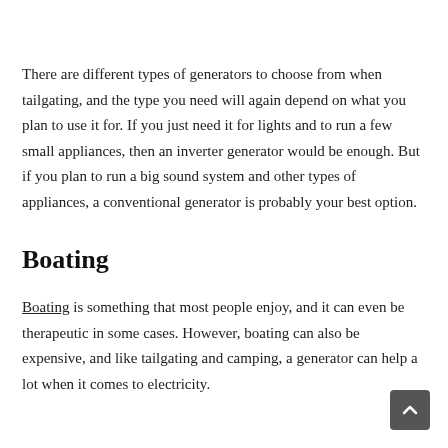There are different types of generators to choose from when tailgating, and the type you need will again depend on what you plan to use it for. If you just need it for lights and to run a few small appliances, then an inverter generator would be enough. But if you plan to run a big sound system and other types of appliances, a conventional generator is probably your best option.
Boating
Boating is something that most people enjoy, and it can even be therapeutic in some cases. However, boating can also be expensive, and like tailgating and camping, a generator can help a lot when it comes to electricity.